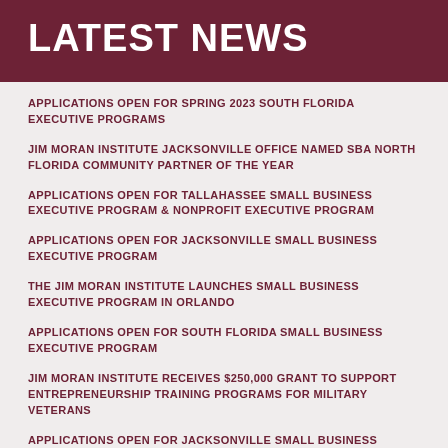LATEST NEWS
APPLICATIONS OPEN FOR SPRING 2023 SOUTH FLORIDA EXECUTIVE PROGRAMS
JIM MORAN INSTITUTE JACKSONVILLE OFFICE NAMED SBA NORTH FLORIDA COMMUNITY PARTNER OF THE YEAR
APPLICATIONS OPEN FOR TALLAHASSEE SMALL BUSINESS EXECUTIVE PROGRAM & NONPROFIT EXECUTIVE PROGRAM
APPLICATIONS OPEN FOR JACKSONVILLE SMALL BUSINESS EXECUTIVE PROGRAM
THE JIM MORAN INSTITUTE LAUNCHES SMALL BUSINESS EXECUTIVE PROGRAM IN ORLANDO
APPLICATIONS OPEN FOR SOUTH FLORIDA SMALL BUSINESS EXECUTIVE PROGRAM
JIM MORAN INSTITUTE RECEIVES $250,000 GRANT TO SUPPORT ENTREPRENEURSHIP TRAINING PROGRAMS FOR MILITARY VETERANS
APPLICATIONS OPEN FOR JACKSONVILLE SMALL BUSINESS